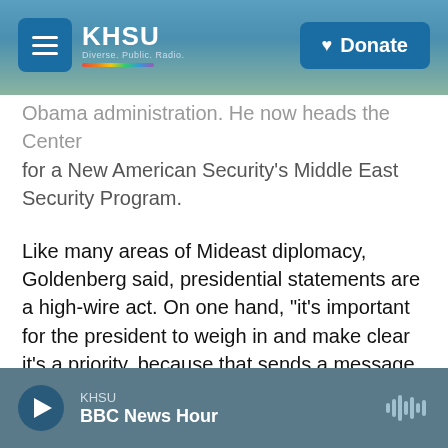KHSU — Donate
Obama administration. He now heads the Center for a New American Security's Middle East Security Program.
Like many areas of Mideast diplomacy, Goldenberg said, presidential statements are a high-wire act. On one hand, "it's important for the president to weigh in and make clear it's a priority, because that sends a message to all the parties in the region that the U.S. cares about this issue."
But weighing in too much creates its own problems, according to Goldenberg, especially because the Biden administration has made it clear that it is
KHSU — BBC News Hour